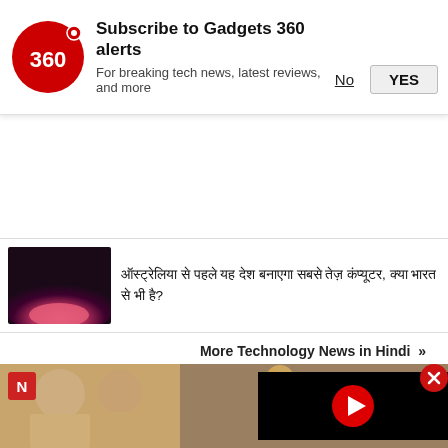[Figure (logo): Gadgets 360 logo - red circle with white '360' text and red dot]
Subscribe to Gadgets 360 alerts
For breaking tech news, latest reviews, and more
No   YES
[Figure (photo): Pink/red glowing light on dark sky background - news thumbnail]
ऑस्ट्रेलिया से पहले यह देश बनाएगा सबसे तेज़ कंप्यूटर, क्या भारत से भी है?
More Technology News in Hindi »
[Figure (photo): Wedding/celebration photos: women in traditional Indian attire (lehenga/saree) and a video player overlay showing a man in a turban at a ceremony. Close button (X) visible. N logo badge top-left.]